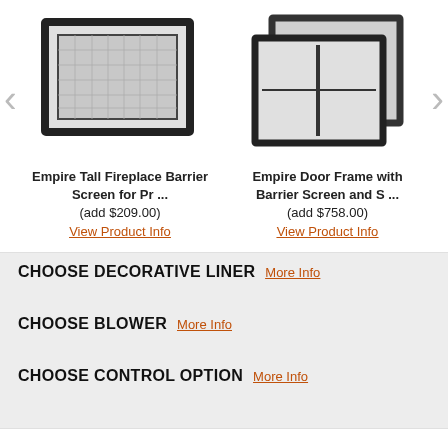[Figure (illustration): Empire Tall Fireplace Barrier Screen product image - rectangular frame with mesh screen]
Empire Tall Fireplace Barrier Screen for Pr ...
(add $209.00)
View Product Info
[Figure (illustration): Empire Door Frame with Barrier Screen and S ... product image - two overlapping rectangular door frames]
Empire Door Frame with Barrier Screen and S ...
(add $758.00)
View Product Info
CHOOSE DECORATIVE LINER  More Info
CHOOSE BLOWER  More Info
CHOOSE CONTROL OPTION  More Info
ADD TO CART
Popular Accessories for this Item